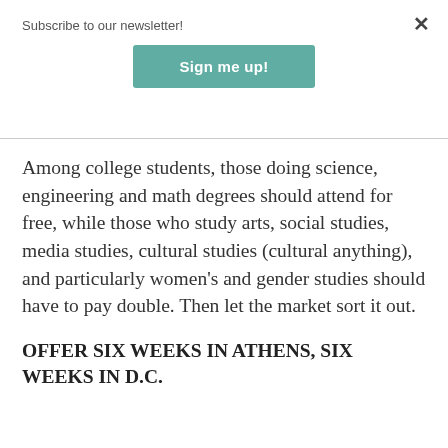Subscribe to our newsletter!
[Figure (other): Sign me up! button — teal/green rounded button]
Among college students, those doing science, engineering and math degrees should attend for free, while those who study arts, social studies, media studies, cultural studies (cultural anything), and particularly women's and gender studies should have to pay double. Then let the market sort it out.
OFFER SIX WEEKS IN ATHENS, SIX WEEKS IN D.C.